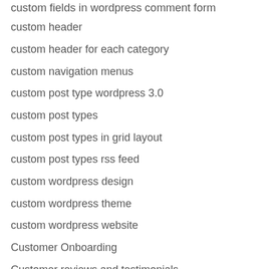custom fields in wordpress comment form
custom header
custom header for each category
custom navigation menus
custom post type wordpress 3.0
custom post types
custom post types in grid layout
custom post types rss feed
custom wordpress design
custom wordpress theme
custom wordpress website
Customer Onboarding
Customer reviews and testimonials